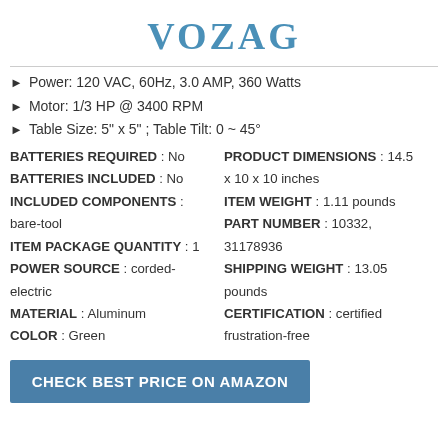VOZAG
Power: 120 VAC, 60Hz, 3.0 AMP, 360 Watts
Motor: 1/3 HP @ 3400 RPM
Table Size: 5" x 5" ; Table Tilt: 0 ~ 45°
| BATTERIES REQUIRED : No | PRODUCT DIMENSIONS : 14.5 x 10 x 10 inches |
| BATTERIES INCLUDED : No |  |
| INCLUDED COMPONENTS : bare-tool | ITEM WEIGHT : 1.11 pounds |
| ITEM PACKAGE QUANTITY : 1 | PART NUMBER : 10332, 31178936 |
| POWER SOURCE : corded-electric | SHIPPING WEIGHT : 13.05 pounds |
| MATERIAL : Aluminum | CERTIFICATION : certified frustration-free |
| COLOR : Green |  |
CHECK BEST PRICE ON AMAZON